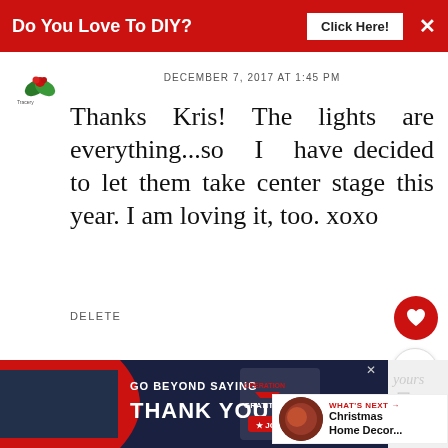Do You Love To DIY?  Click Here!  ×
[Figure (logo): Small blog avatar/logo with holly leaves and red berries icon]
DECEMBER 7, 2017 AT 1:45 PM
Thanks Kris! The lights are everything...so I have decided to let them take center stage this year. I am loving it, too. xoxo
DELETE
REPLY
[Figure (photo): Profile photo of Mary K., woman with grey hair]
Mary K.
NOVEMBER 28, 2017 AT 9:37 AM
[Figure (infographic): Advertisement banner: GO BEYOND SAYING THANK YOU - Operation Gratitude - JOIN US]
[Figure (infographic): WHAT'S NEXT arrow - Christmas Home Decor... with thumbnail image]